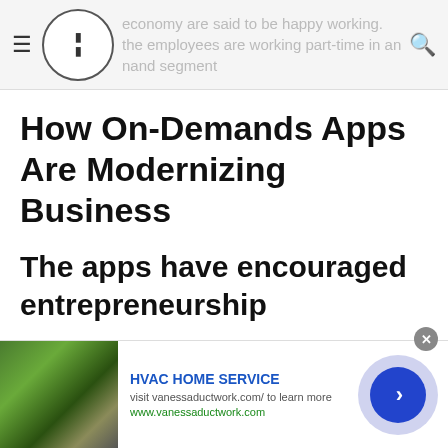economy are said to be happy working... the employees are working part-time in an... nand segment
How On-Demands Apps Are Modernizing Business
The apps have encouraged entrepreneurship
The advent of on-demand apps has made a great impact...
[Figure (screenshot): Advertisement banner for HVAC HOME SERVICE with garden image, text 'visit vanessaductwork.com/ to learn more', URL 'www.vanessaductwork.com', and a blue arrow button]